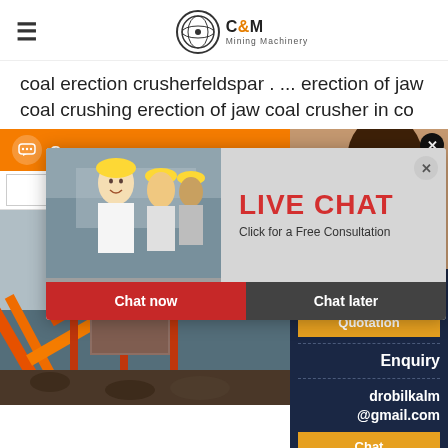C&M Mining Machinery
coal erection crusherfeldspar . ... erection of jaw coal crushing erection of jaw coal crusher in co
[Figure (screenshot): Live Chat popup overlay with construction workers in hard hats, LIVE CHAT heading in red, subtitle 'Click for a Free Consultation', Chat now and Chat later buttons]
[Figure (photo): Mining crushing equipment/conveyor machinery with orange steel structure against cloudy sky]
[Figure (photo): Customer service representative with headset smiling]
ave any requests, ick here.
Quotation
Enquiry
drobilkalm@gmail.com
Chat